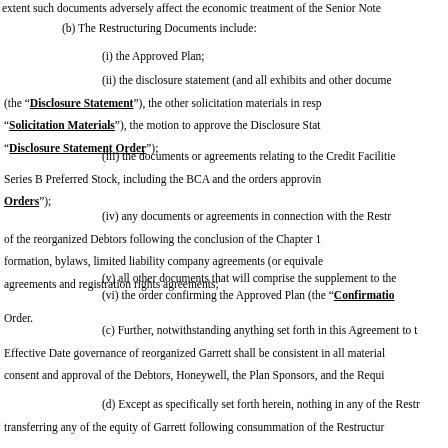extent such documents adversely affect the economic treatment of the Senior Note
(b) The Restructuring Documents include:
(i) the Approved Plan;
(ii) the disclosure statement (and all exhibits and other documents) (the “Disclosure Statement”), the other solicitation materials in resp“Solicitation Materials”), the motion to approve the Disclosure Stat“Disclosure Statement Order”);
(iii) the documents or agreements relating to the Credit Facilitie Series B Preferred Stock, including the BCA and the orders approvin Orders”);
(iv) any documents or agreements in connection with the Restr of the reorganized Debtors following the conclusion of the Chapter 1 formation, bylaws, limited liability company agreements (or equivale agreements and registration rights agreements;
(v) all other documents that will comprise the supplement to the
(vi) the order confirming the Approved Plan (the “Confirmatio Order.
(c) Further, notwithstanding anything set forth in this Agreement to t Effective Date governance of reorganized Garrett shall be consistent in all material consent and approval of the Debtors, Honeywell, the Plan Sponsors, and the Requi
(d) Except as specifically set forth herein, nothing in any of the Restr transferring any of the equity of Garrett following consummation of the Restructur